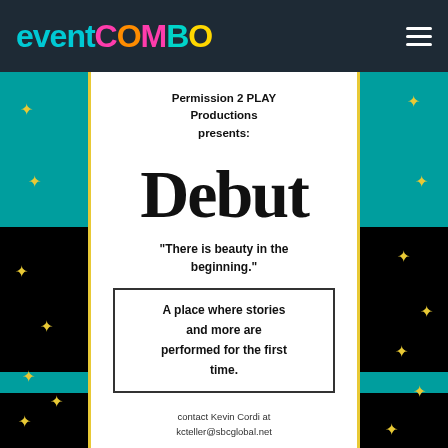eventCOMBO
[Figure (illustration): Event flyer for 'Debut' by Permission 2 PLAY Productions with teal and black checkerboard background with gold stars, centered white panel with yellow border]
Permission 2 PLAY Productions presents:
Debut
"There is beauty in the beginning."
A place where stories and more are performed for the first time.
contact Kevin Cordi at kcteller@sbcglobal.net